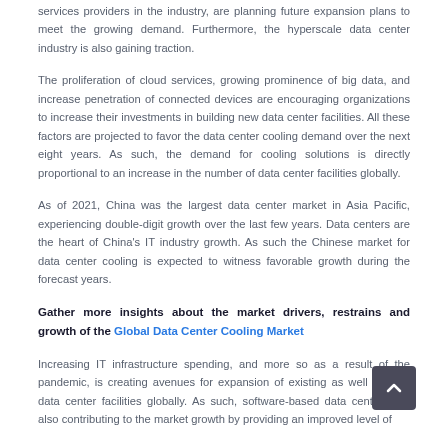services providers in the industry, are planning future expansion plans to meet the growing demand. Furthermore, the hyperscale data center industry is also gaining traction.
The proliferation of cloud services, growing prominence of big data, and increase penetration of connected devices are encouraging organizations to increase their investments in building new data center facilities. All these factors are projected to favor the data center cooling demand over the next eight years. As such, the demand for cooling solutions is directly proportional to an increase in the number of data center facilities globally.
As of 2021, China was the largest data center market in Asia Pacific, experiencing double-digit growth over the last few years. Data centers are the heart of China's IT industry growth. As such the Chinese market for data center cooling is expected to witness favorable growth during the forecast years.
Gather more insights about the market drivers, restrains and growth of the Global Data Center Cooling Market
Increasing IT infrastructure spending, and more so as a result of the pandemic, is creating avenues for expansion of existing as well as new data center facilities globally. As such, software-based data centers are also contributing to the market growth by providing an improved level of